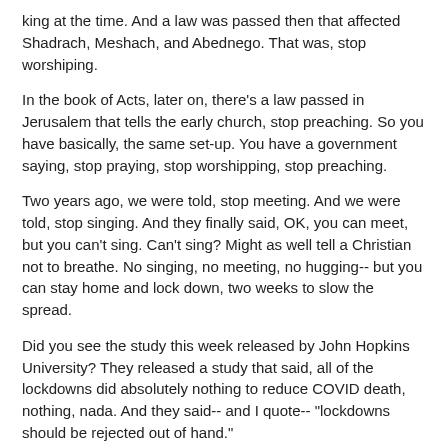king at the time. And a law was passed then that affected Shadrach, Meshach, and Abednego. That was, stop worshiping.
In the book of Acts, later on, there's a law passed in Jerusalem that tells the early church, stop preaching. So you have basically, the same set-up. You have a government saying, stop praying, stop worshipping, stop preaching.
Two years ago, we were told, stop meeting. And we were told, stop singing. And they finally said, OK, you can meet, but you can't sing. Can't sing? Might as well tell a Christian not to breathe. No singing, no meeting, no hugging-- but you can stay home and lock down, two weeks to slow the spread.
Did you see the study this week released by John Hopkins University? They released a study that said, all of the lockdowns did absolutely nothing to reduce COVID death, nothing, nada. And they said-- and I quote-- "lockdowns should be rejected out of hand."
Amen.
So I'm going to take that advice.
[APPLAUSE]
What was two weeks to slow the spread became two years to control your life. So we are starting to see government persecuting believers, using COVID as a stock. That was sort of an excuse. But you got to know that